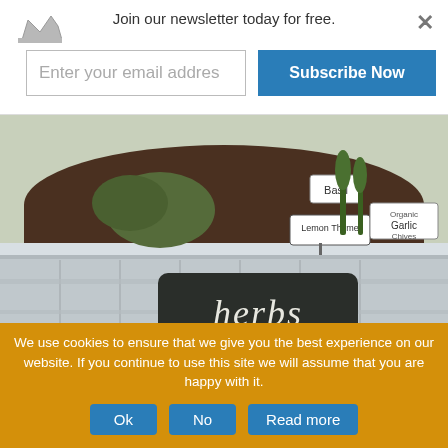Join our newsletter today for free.
Enter your email addres
Subscribe Now
[Figure (photo): A galvanized metal tub/bucket used as a herb planter, containing various herbs including Basil, Lemon Thyme, and Garlic Chives with plant markers. A black chalkboard label on the front reads 'herbs' in cursive white chalk writing.]
We use cookies to ensure that we give you the best experience on our website. If you continue to use this site we will assume that you are happy with it.
Ok
No
Read more